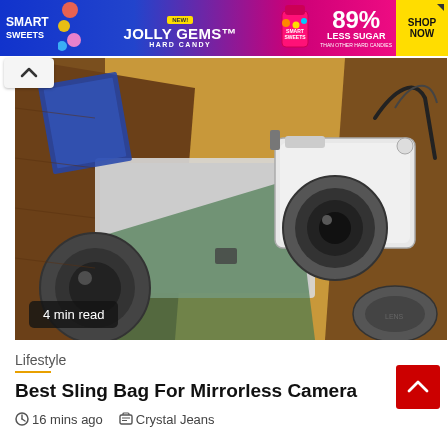[Figure (photo): SmartSweets Jolly Gems Hard Candy advertisement banner. Blue and pink background with candy imagery, text '89% LESS SUGAR THAN OTHER HARD CANDIES' and 'SHOP NOW' button.]
[Figure (photo): Overhead photo of a brown leather camera sling bag containing a mirrorless camera with lens, additional lenses, a book, laptop, and camera accessories scattered on a white surface.]
4 min read
Lifestyle
Best Sling Bag For Mirrorless Camera
16 mins ago   Crystal Jeans